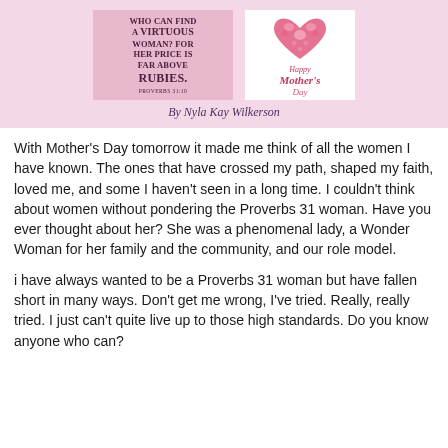[Figure (illustration): Pink banner with two images: left shows text 'WHO CAN FIND A VIRTUOUS WOMAN? FOR HER PRICE IS FAR ABOVE RUBIES. Proverbs 31:10' on a pink/mauve background; right shows a floral heart shape and 'Happy Mother's Day' text in red/pink script on white background. Below both images is cursive text 'By Nyla Kay Wilkerson'.]
With Mother's Day tomorrow it made me think of all the women I have known. The ones that have crossed my path, shaped my faith, loved me, and some I haven't seen in a long time. I couldn't think about women without pondering the Proverbs 31 woman. Have you ever thought about her? She was a phenomenal lady, a Wonder Woman for her family and the community, and our role model.
i have always wanted to be a Proverbs 31 woman but have fallen short in many ways.  Don't get me wrong, I've tried.  Really, really tried.  I just can't quite live up to those high standards.  Do you know anyone who can?